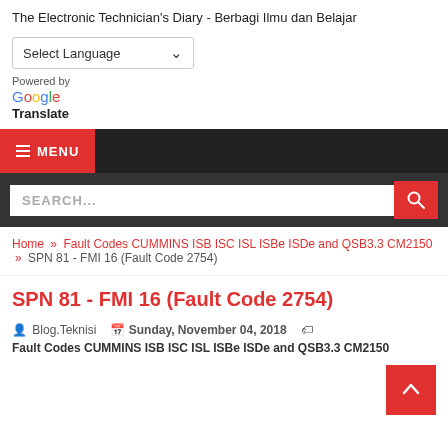The Electronic Technician's Diary - Berbagi Ilmu dan Belajar
Select Language
Powered by
Google
Translate
≡ MENU
SEARCH...
Home » Fault Codes CUMMINS ISB ISC ISL ISBe ISDe and QSB3.3 CM2150 » SPN 81 - FMI 16 (Fault Code 2754)
SPN 81 - FMI 16 (Fault Code 2754)
Blog.Teknisi   Sunday, November 04, 2018
Fault Codes CUMMINS ISB ISC ISL ISBe ISDe and QSB3.3 CM2150